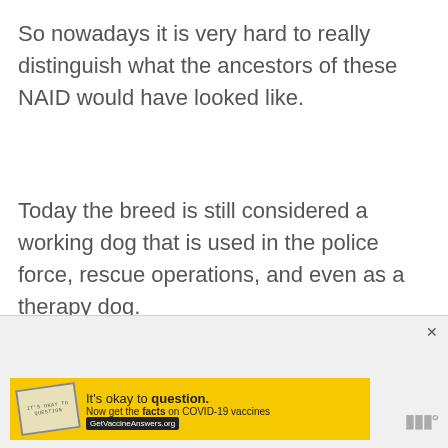So nowadays it is very hard to really distinguish what the ancestors of these NAID would have looked like.
Today the breed is still considered a working dog that is used in the police force, rescue operations, and even as a therapy dog.
[Figure (other): Advertisement banner: yellow background with stamp graphic. Text reads: It's okay to question. Now get the facts on COVID-19 vaccines GetVaccineAnswers.org. Close button (X) top right. Website logo bottom right.]